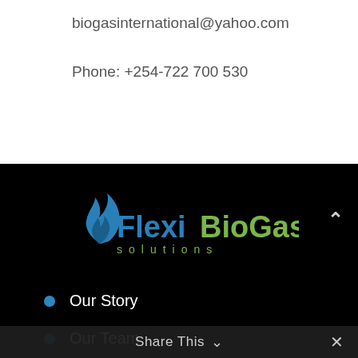biogasinternational@yahoo.com
Phone: +254-722 700 530
[Figure (logo): Flexi BioGas Solutions logo with blue flame icon, blue 'Flexi' text, green 'BioGas' text, and grey 'solutions' text below]
Our Story
Our Team
Partners
Share This